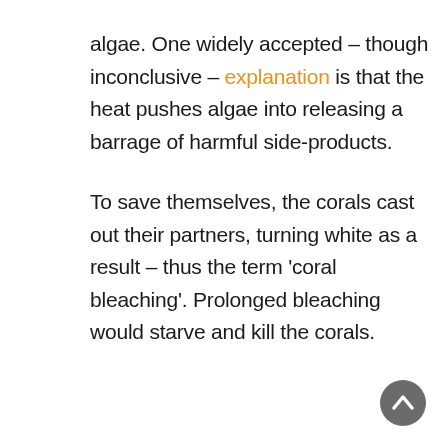algae. One widely accepted – though inconclusive – explanation is that the heat pushes algae into releasing a barrage of harmful side-products.
To save themselves, the corals cast out their partners, turning white as a result – thus the term 'coral bleaching'. Prolonged bleaching would starve and kill the corals.